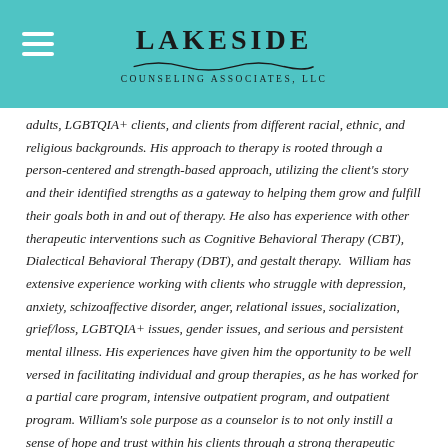LAKESIDE COUNSELING ASSOCIATES, LLC
adults, LGBTQIA+ clients, and clients from different racial, ethnic, and religious backgrounds. His approach to therapy is rooted through a person-centered and strength-based approach, utilizing the client's story and their identified strengths as a gateway to helping them grow and fulfill their goals both in and out of therapy. He also has experience with other therapeutic interventions such as Cognitive Behavioral Therapy (CBT), Dialectical Behavioral Therapy (DBT), and gestalt therapy. William has extensive experience working with clients who struggle with depression, anxiety, schizoaffective disorder, anger, relational issues, socialization, grief/loss, LGBTQIA+ issues, gender issues, and serious and persistent mental illness. His experiences have given him the opportunity to be well versed in facilitating individual and group therapies, as he has worked for a partial care program, intensive outpatient program, and outpatient program. William's sole purpose as a counselor is to not only instill a sense of hope and trust within his clients through a strong therapeutic alliance, but to help them rediscover